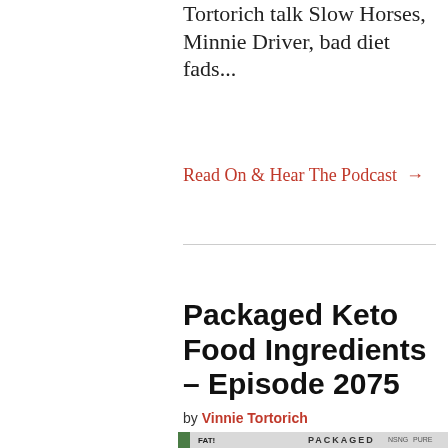Tortorich talk Slow Horses, Minnie Driver, bad diet fads...
Read On & Hear The Podcast →
Packaged Keto Food Ingredients – Episode 2075
by Vinnie Tortorich
[Figure (photo): Thumbnail image for Packaged Keto Food Ingredients podcast episode 2075, showing a person with text PACKAGED and various logos including NSNG and PURE]